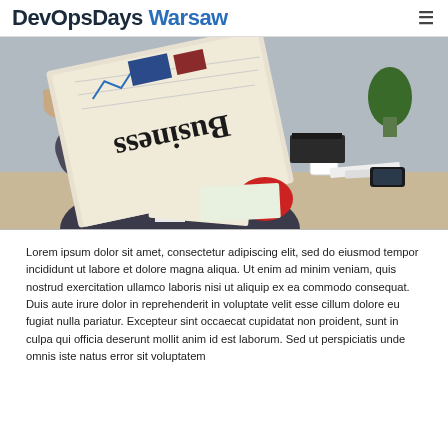DevOpsDays Warsaw
[Figure (photo): Person in suit reading a Business newspaper, with office items on a desk in the background including a coffee mug, plant, phone, and papers]
Lorem ipsum dolor sit amet, consectetur adipiscing elit, sed do eiusmod tempor incididunt ut labore et dolore magna aliqua. Ut enim ad minim veniam, quis nostrud exercitation ullamco laboris nisi ut aliquip ex ea commodo consequat. Duis aute irure dolor in reprehenderit in voluptate velit esse cillum dolore eu fugiat nulla pariatur. Excepteur sint occaecat cupidatat non proident, sunt in culpa qui officia deserunt mollit anim id est laborum. Sed ut perspiciatis unde omnis iste natus error sit voluptatem